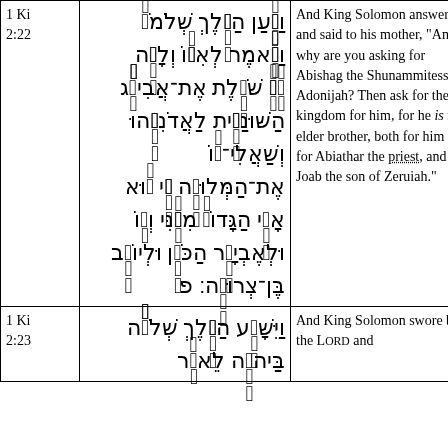| Ref | Hebrew | English |
| --- | --- | --- |
| 1 Ki 2:22 | [Hebrew text] | And King Solomon answered and said to his mother, “And why are you asking for Abishag the Shunammitess for Adonijah? Then ask for the kingdom for him, for he is my elder brother, both for him and for Abiathar the priest, and for Joab the son of Zeruiah.” |
| 1 Ki 2:23 | [Hebrew text] | And King Solomon swore by the LORD and... |